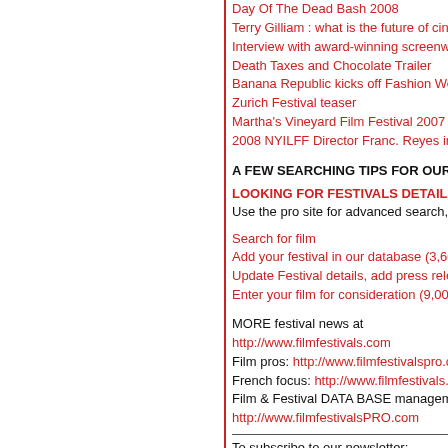Day Of The Dead Bash 2008
Terry Gilliam : what is the future of cinema
Interview with award-winning screenwrite
Death Taxes and Chocolate Trailer
Banana Republic kicks off Fashion Week
Zurich Festival teaser
Martha's Vineyard Film Festival 2007 hig
2008 NYILFF Director Franc. Reyes intro
A FEW SEARCHING TIPS FOR OUR W
LOOKING FOR FESTIVALS DETAILS DA
Use the pro site for advanced search, res
Search for film
Add your festival in our database (3,600 f
Update Festival details, add press releas
Enter your film for consideration (9,000 a
MORE festival news at
http://www.filmfestivals.com
Film pros: http://www.filmfestivalspro.com
French focus: http://www.filmfestivals.fr
Film & Festival DATA BASE management
http://www.filmfestivalsPRO.com
To subscribe to our newsletter:
click here
To forward this Message to Someone [FO